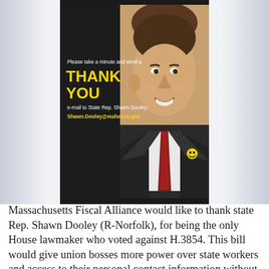[Figure (photo): Promotional card on dark background. Left side shows text: 'Please take a minute and send a THANK YOU e-mail to State Rep. Shawn Dooley: Shawn.Dooley@mahouse.gov'. Right side shows a headshot photo of a smiling middle-aged man in a dark suit with a red tie and a small yellow smiley-face pin.]
Massachusetts Fiscal Alliance would like to thank state Rep. Shawn Dooley (R-Norfolk), for being the only House lawmaker who voted against H.3854. This bill would give union bosses more power over state workers and access to their personal contact information without consent. Please take a minute and send a